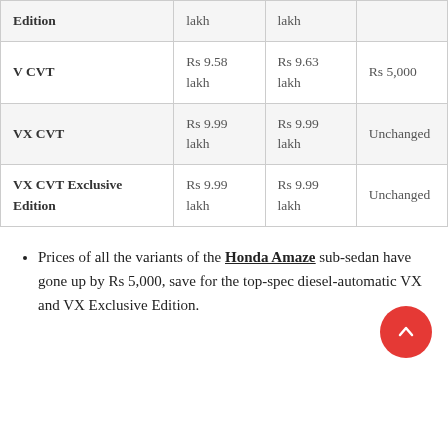| Variant | Old Price | New Price | Change |
| --- | --- | --- | --- |
| Edition | lakh | lakh |  |
| V CVT | Rs 9.58 lakh | Rs 9.63 lakh | Rs 5,000 |
| VX CVT | Rs 9.99 lakh | Rs 9.99 lakh | Unchanged |
| VX CVT Exclusive Edition | Rs 9.99 lakh | Rs 9.99 lakh | Unchanged |
Prices of all the variants of the Honda Amaze sub-sedan have gone up by Rs 5,000, save for the top-spec diesel-automatic VX and VX Exclusive Edition.